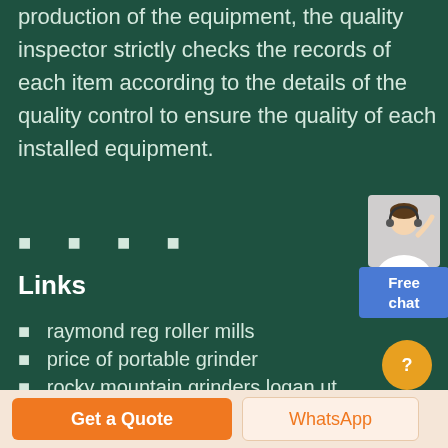production of the equipment, the quality inspector strictly checks the records of each item according to the details of the quality control to ensure the quality of each installed equipment.
Links
raymond reg roller mills
price of portable grinder
rocky mountain grinders logan ut
[Figure (illustration): Customer service representative avatar with Free chat button]
Get a Quote
WhatsApp